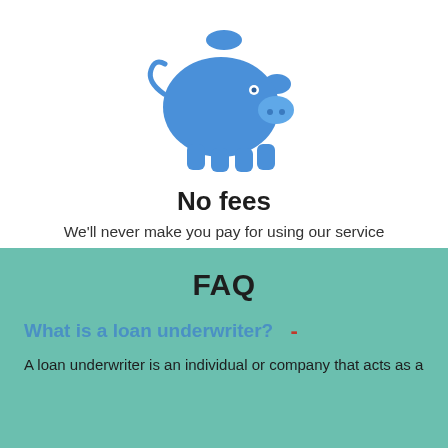[Figure (illustration): Blue piggy bank icon with a coin slot on top]
No fees
We'll never make you pay for using our service
FAQ
What is a loan underwriter?  -
A loan underwriter is an individual or company that acts as a